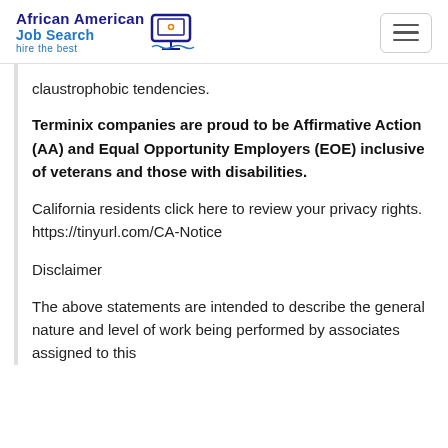African American Job Search hire the best
claustrophobic tendencies.
Terminix companies are proud to be Affirmative Action (AA) and Equal Opportunity Employers (EOE) inclusive of veterans and those with disabilities.
California residents click here to review your privacy rights. https://tinyurl.com/CA-Notice
Disclaimer
The above statements are intended to describe the general nature and level of work being performed by associates assigned to this